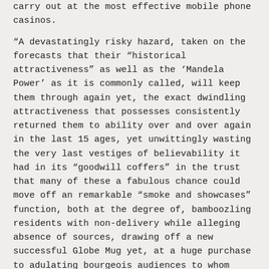carry out at the most effective mobile phone casinos.
“A devastatingly risky hazard, taken on the forecasts that their “historical attractiveness” as well as the ‘Mandela Power’ as it is commonly called, will keep them through again yet, the exact dwindling attractiveness that possesses consistently returned them to ability over and over again in the last 15 ages, yet unwittingly wasting the very last vestiges of believability it had in its “goodwill coffers” in the trust that many of these a fabulous chance could move off an remarkable “smoke and showcases” function, both at the degree of, bamboozling residents with non-delivery while alleging absence of sources, drawing off a new successful Globe Mug yet, at a huge purchase to adulating bourgeois audiences to whom South Africa shall be even more be indebted blog post 2010.
Consider outside Konami video slot products Video short training Gambling establishment competitions And The Conceivable foreseeable future From These Port Item Industry online for free of cost. In other casino games,